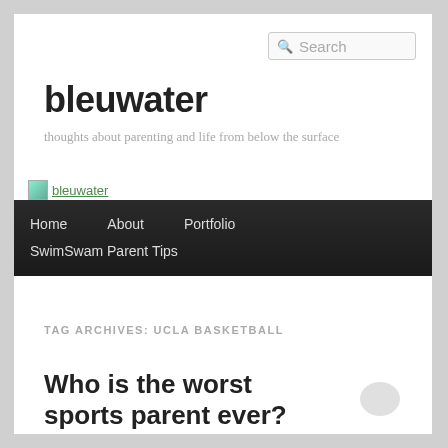Search
bleuwater
thoughts about parenting and life from below the surface
[Figure (logo): bleuwater logo image with green tint and site name link]
Home   About   Portfolio   SwimSwam Parent Tips
TAG ARCHIVES: UCLA BASKETBALL
Who is the worst sports parent ever?